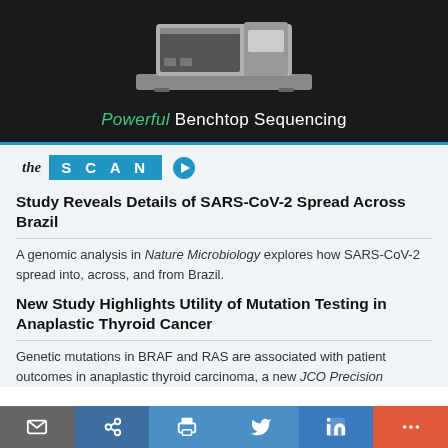[Figure (photo): Advertisement image showing a benchtop sequencing machine against a dark background with text 'Powerful Benchtop Sequencing']
the SCAN
Study Reveals Details of SARS-CoV-2 Spread Across Brazil
A genomic analysis in Nature Microbiology explores how SARS-CoV-2 spread into, across, and from Brazil.
New Study Highlights Utility of Mutation Testing in Anaplastic Thyroid Cancer
Genetic mutations in BRAF and RAS are associated with patient outcomes in anaplastic thyroid carcinoma, a new JCO Precision